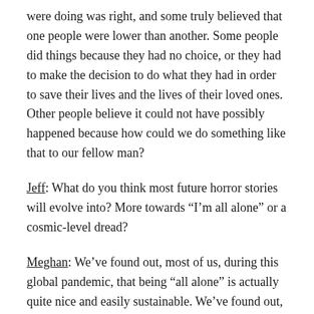were doing was right, and some truly believed that one people were lower than another. Some people did things because they had no choice, or they had to make the decision to do what they had in order to save their lives and the lives of their loved ones. Other people believe it could not have possibly happened because how could we do something like that to our fellow man?
Jeff: What do you think most future horror stories will evolve into? More towards “I’m all alone” or a cosmic-level dread?
Meghan: We’ve found out, most of us, during this global pandemic, that being “all alone” is actually quite nice and easily sustainable. We’ve found out, most of us, that we don’t need other people physically in our lives, and with the options to have things, including groceries and food, delivered to your home, there’s a good few of us